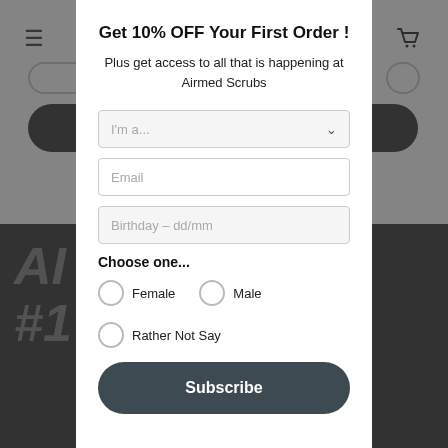Get 10% OFF Your First Order !
Plus get access to all that is happening at Airmed Scrubs
I'm a...
Email
Birthday – dd/mm
Choose one...
Female
Male
Rather Not Say
Subscribe